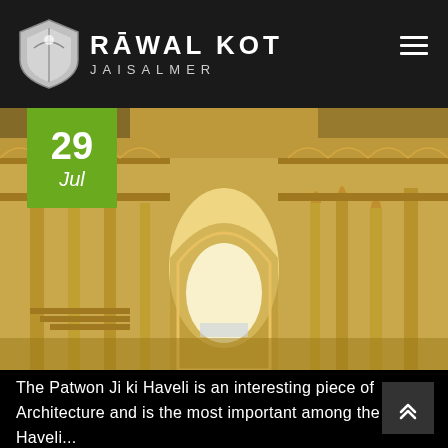RĀWAL KOT JAISALMER
[Figure (photo): Interior courtyard of Patwon Ji ki Haveli, Jaisalmer — ornate golden sandstone arches, columns, and intricate carved balconies in a multi-storey haveli, with a bright archway at the far end leading to the street.]
The Patwon Ji ki Haveli is an interesting piece of Architecture and is the most important among the Haveli...